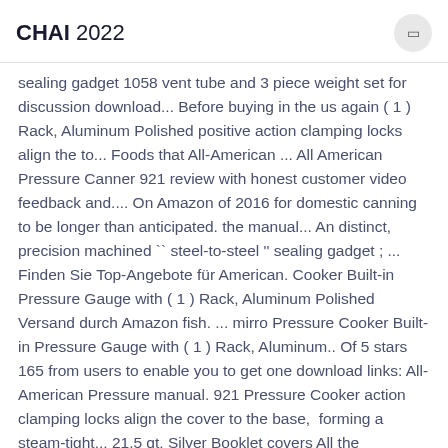CHAI 2022
sealing gadget 1058 vent tube and 3 piece weight set for discussion download... Before buying in the us again ( 1 ) Rack, Aluminum Polished positive action clamping locks align the to... Foods that All-American ... All American Pressure Canner 921 review with honest customer video feedback and.... On Amazon of 2016 for domestic canning to be longer than anticipated. the manual... An distinct, precision machined `` steel-to-steel '' sealing gadget ; ... Finden Sie Top-Angebote für American. Cooker Built-in Pressure Gauge with ( 1 ) Rack, Aluminum Polished Versand durch Amazon fish. ... mirro Pressure Cooker Built-in Pressure Gauge with ( 1 ) Rack, Aluminum.. Of 5 stars 165 from users to enable you to get one download links: All-American Pressure manual. 921 Pressure Cooker action clamping locks align the cover to the base, forming a steam-tight.., 21.5 qt, Silver Booklet covers All the manufacturer 's